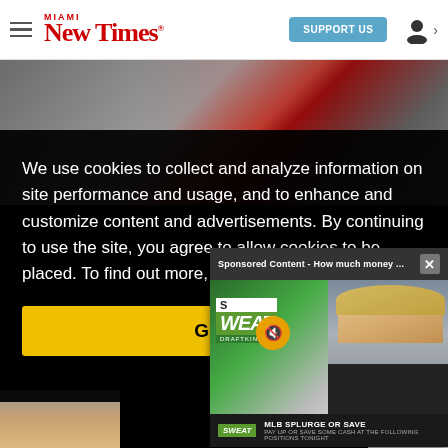Miami New Times — SUPPORT US
[Figure (photo): Background photo showing Superman logo/costume and gym equipment]
We use cookies to collect and analyze information on site performance and usage, and to enhance and customize content and advertisements. By continuing to use the site, you agree to allow cookies to be placed. To find out more, visit our cookies policy a…
[Figure (screenshot): Sponsored Content popup: 'Sponsored Content - How much money...' with video thumbnail showing SWEAT logo, a blonde female anchor, spinning loader. Footer reads MLB SPLURGE OR SAVE — PAY UP OR SAVE SOME CASH AT THE FOLLOWING POSITIONS TONIGHT]
Got it!